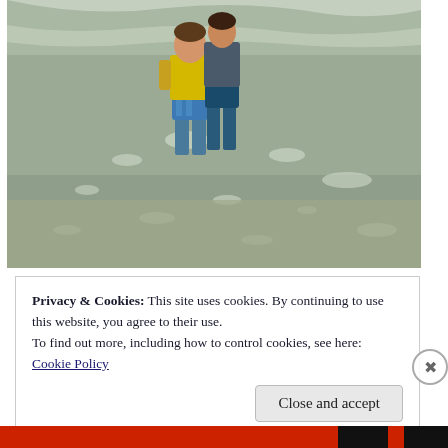[Figure (photo): Two children standing in ocean surf at the beach. The child on the left wears a yellow shirt and blue patterned swim shorts and is partially submerged in shallow water. Ocean waves and foam are visible around them. The water is a murky green-brown color.]
Privacy & Cookies: This site uses cookies. By continuing to use this website, you agree to their use.
To find out more, including how to control cookies, see here:
Cookie Policy
Close and accept